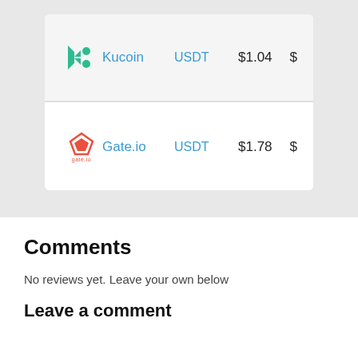| Exchange | Name | Currency | Price |  |
| --- | --- | --- | --- | --- |
| KuCoin logo | Kucoin | USDT | $1.04 | $ |
| Gate.io logo | Gate.io | USDT | $1.78 | $ |
Comments
No reviews yet. Leave your own below
Leave a comment